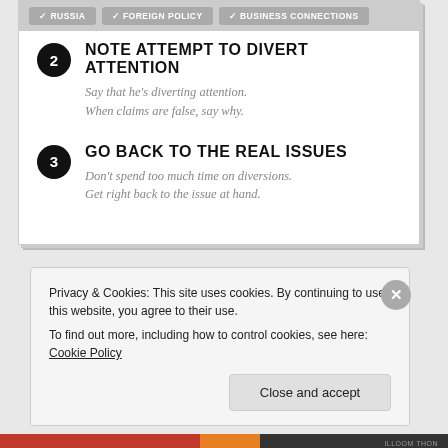RUSSIA  FOREIGN POLICY  BUSINESS CONNECTIONS
2 NOTE ATTEMPT TO DIVERT ATTENTION — Say that he's diverting attention. When claims are false, say why.
3 GO BACK TO THE REAL ISSUES — Don't spend too much time on diversions. Get right back to the issue at hand.
Privacy & Cookies: This site uses cookies. By continuing to use this website, you agree to their use. To find out more, including how to control cookies, see here: Cookie Policy
Close and accept